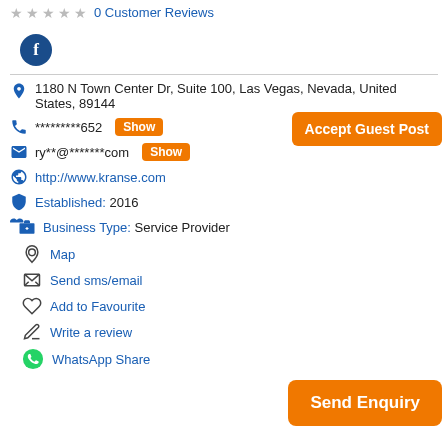0 Customer Reviews
[Figure (logo): Facebook icon - circular dark blue button with white 'f' letter]
1180 N Town Center Dr, Suite 100, Las Vegas, Nevada, United States, 89144
*********652  Show
ry**@*******com  Show
http://www.kranse.com
Established: 2016
Business Type: Service Provider
Accept Guest Post
Map
Send sms/email
Add to Favourite
Write a review
WhatsApp Share
Send Enquiry